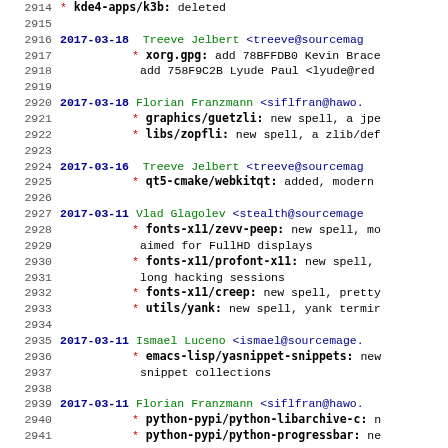2914   * kde4-apps/k3b: deleted
2915
2916 2017-03-18 Treeve Jelbert <treeve@sourcemag...
2917   * xorg.gpg: add 78BFFDB0 Kevin Brace...
2918     add 758F9C2B Lyude Paul <lyude@red...
2919
2920 2017-03-18 Florian Franzmann <siflfran@hawo...
2921   * graphics/guetzli: new spell, a jpe...
2922   * libs/zopfli: new spell, a zlib/def...
2923
2924 2017-03-16 Treeve Jelbert <treeve@sourcemag...
2925   * qt5-cmake/webkitqt: added, modern...
2926
2927 2017-03-11 Vlad Glagolev <stealth@sourcemage...
2928   * fonts-x11/zevv-peep: new spell, mo...
2929     aimed for FullHD displays
2930   * fonts-x11/profont-x11: new spell,...
2931     long hacking sessions
2932   * fonts-x11/creep: new spell, pretty...
2933   * utils/yank: new spell, yank termir...
2934
2935 2017-03-11 Ismael Luceno <ismael@sourcemage...
2936   * emacs-lisp/yasnippet-snippets: new...
2937     snippet collections
2938
2939 2017-03-11 Florian Franzmann <siflfran@hawo...
2940   * python-pypi/python-libarchive-c: n...
2941   * python-pypi/python-progressbar: ne...
2942
2943 2017-03-10 Vlad Glagolev <stealth@sourcemage...